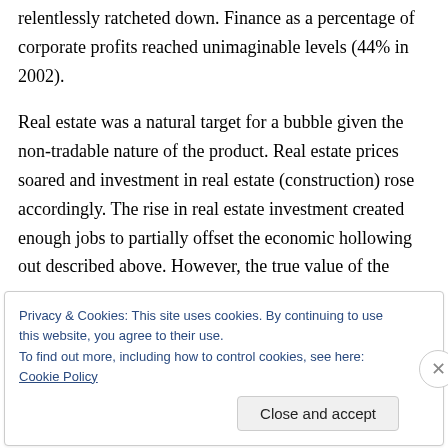relentlessly ratcheted down. Finance as a percentage of corporate profits reached unimaginable levels (44% in 2002).
Real estate was a natural target for a bubble given the non-tradable nature of the product. Real estate prices soared and investment in real estate (construction) rose accordingly. The rise in real estate investment created enough jobs to partially offset the economic hollowing out described above. However, the true value of the
Privacy & Cookies: This site uses cookies. By continuing to use this website, you agree to their use.
To find out more, including how to control cookies, see here: Cookie Policy
Close and accept